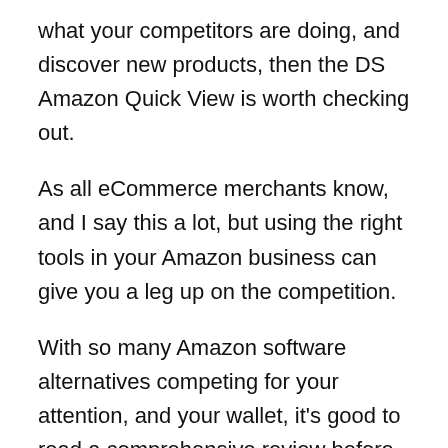what your competitors are doing, and discover new products, then the DS Amazon Quick View is worth checking out.
As all eCommerce merchants know, and I say this a lot, but using the right tools in your Amazon business can give you a leg up on the competition.
With so many Amazon software alternatives competing for your attention, and your wallet, it's good to read a comprehensive review before committing yourself to any Amazon marketing tool in my opinion.
The DS Amazon Quick View chrome extension offers a remarkable feature that I'll discuss in this review